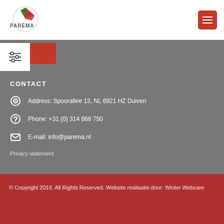[Figure (logo): Parema logo - circular logo with red and green triangle on white background with company name PAREMA]
PAREMA header navigation with hamburger menu button
CONTACT
Address: Spoorallee 13, NL 6921 HZ Duiven
Phone: +31 (0) 314 668 750
E-mail: info@parema.nl
Privacy statement
© Copyright 2018. All Rights Reserved. Website realisatie door: Winter Webcare